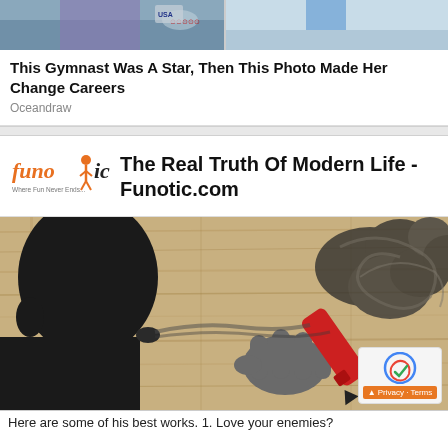[Figure (photo): Two cropped photos side by side at top: left shows a gymnast in Olympic gear with Nike logo and Olympic rings, right shows a partial view of a person in blue athletic wear]
This Gymnast Was A Star, Then This Photo Made Her Change Careers
Oceandraw
[Figure (logo): Funotic logo - orange and black text reading 'funo' with a figure icon, tagline below]
The Real Truth Of Modern Life - Funotic.com
[Figure (illustration): Artwork on wood-grain background showing a dark silhouetted figure blowing smoke from a red marker/pen held in a cartoon hand, with smoke cloud on right side. A reCAPTCHA privacy badge visible bottom right.]
Here are some of his best works. 1. Love your enemies?